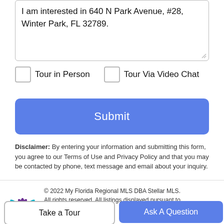I am interested in 640 N Park Avenue, #28, Winter Park, FL 32789.
Tour in Person   Tour Via Video Chat
Submit
Disclaimer: By entering your information and submitting this form, you agree to our Terms of Use and Privacy Policy and that you may be contacted by phone, text message and email about your inquiry.
© 2022 My Florida Regional MLS DBA Stellar MLS. All rights reserved. All listings displayed pursuant to
Take a Tour
Ask A Question